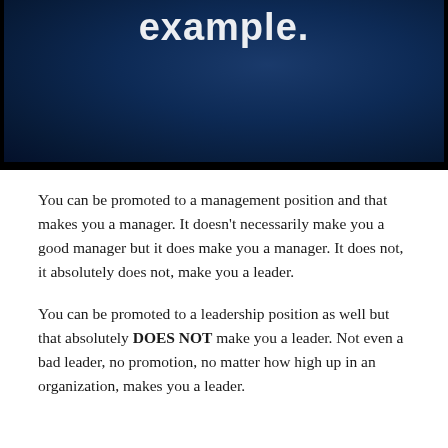[Figure (screenshot): Dark navy blue slide background with bold white text reading 'example.' partially visible at the top]
You can be promoted to a management position and that makes you a manager. It doesn't necessarily make you a good manager but it does make you a manager. It does not, it absolutely does not, make you a leader.
You can be promoted to a leadership position as well but that absolutely DOES NOT make you a leader. Not even a bad leader, no promotion, no matter how high up in an organization, makes you a leader.